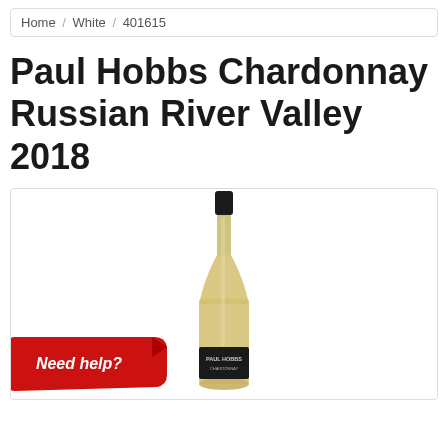Home / White / 401615
Paul Hobbs Chardonnay Russian River Valley 2018
[Figure (photo): A wine bottle of Paul Hobbs Chardonnay Russian River Valley 2018, with dark cap, clear glass showing golden-white wine, dark label at the bottom reading PAUL HOBBS. Overlaid in the lower left is a red ribbon badge reading 'Need help?']